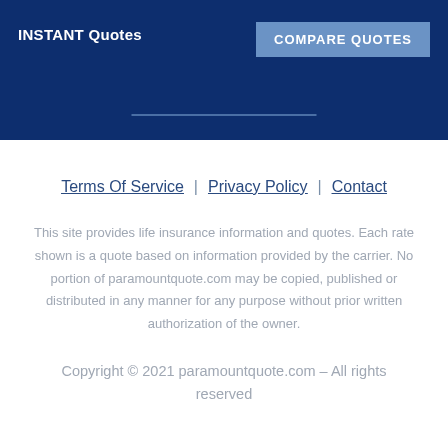INSTANT Quotes
COMPARE QUOTES
Terms Of Service | Privacy Policy | Contact
This site provides life insurance information and quotes. Each rate shown is a quote based on information provided by the carrier. No portion of paramountquote.com may be copied, published or distributed in any manner for any purpose without prior written authorization of the owner.
Copyright © 2021 paramountquote.com – All rights reserved